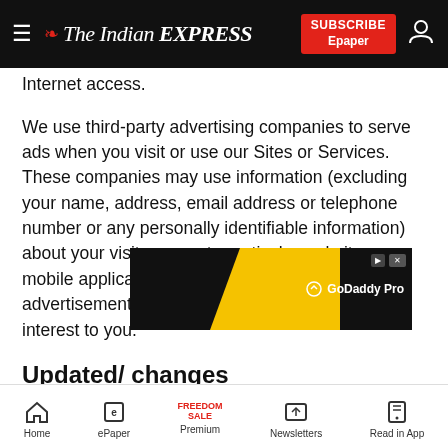The Indian EXPRESS — SUBSCRIBE Epaper
Internet access.
We use third-party advertising companies to serve ads when you visit or use our Sites or Services. These companies may use information (excluding your name, address, email address or telephone number or any personally identifiable information) about your visits or use to particular websites, mobile applications or services, in order to provide advertisements about goods and services of interest to you.
Updated/ changes
The internet is an ever-evolving medium. We may alter our Policy from time to time to incorporate necessary changes in technology, applicable law or any other case, we reserve the right to change the terms of this Policy or the Terms of Use. Any changes we make will be
[Figure (screenshot): GoDaddy Pro advertisement banner overlay with black and yellow diagonal design]
Home  ePaper  Premium  Newsletters  Read in App